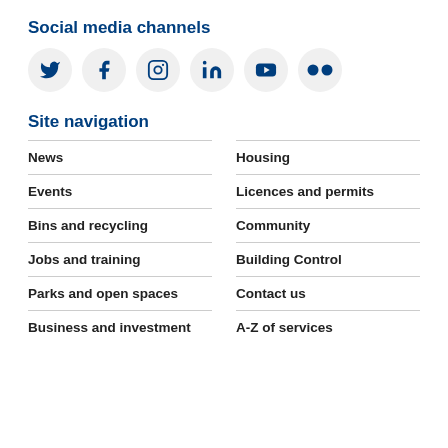Social media channels
[Figure (illustration): Row of social media icon circles: Twitter, Facebook, Instagram, LinkedIn, YouTube, Flickr]
Site navigation
News
Housing
Events
Licences and permits
Bins and recycling
Community
Jobs and training
Building Control
Parks and open spaces
Contact us
Business and investment
A-Z of services